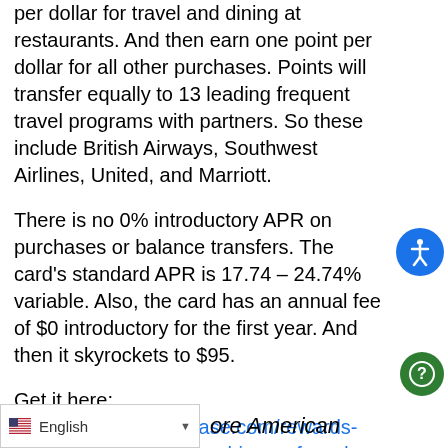per dollar for travel and dining at restaurants. And then earn one point per dollar for all other purchases. Points will transfer equally to 13 leading frequent travel programs with partners. So these include British Airways, Southwest Airlines, United, and Marriott.
There is no 0% introductory APR on purchases or balance transfers. The card's standard APR is 17.74 – 24.74% variable. Also, the card has an annual fee of $0 introductory for the first year. And then it skyrockets to $95.
Get it here: https://creditcards.chase.com/rewards-credit-cards/chase-sapphire-preferred